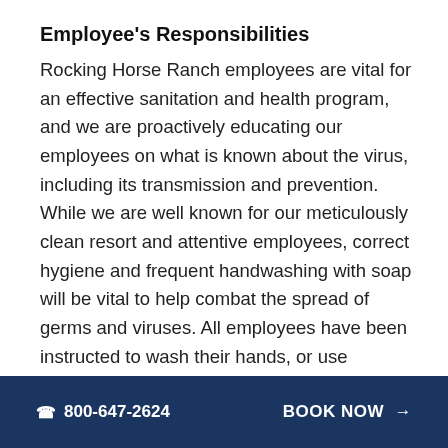Employee's Responsibilities
Rocking Horse Ranch employees are vital for an effective sanitation and health program, and we are proactively educating our employees on what is known about the virus, including its transmission and prevention. While we are well known for our meticulously clean resort and attentive employees, correct hygiene and frequent handwashing with soap will be vital to help combat the spread of germs and viruses. All employees have been instructed to wash their hands, or use sanitizer when a sink is not available, every 60 minutes (for 20 seconds) and after
☎ 800-647-2624   BOOK NOW →